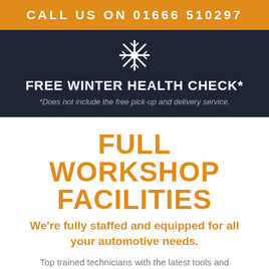CALL US ON 01666 510297
FREE WINTER HEALTH CHECK*
*Does not include the free pick-up and delivery service.
FULL WORKSHOP FACILITIES
We're fully staffed and equipped for all your automotive needs.
Top trained technicians with the latest tools and equipment to hand means our workshop